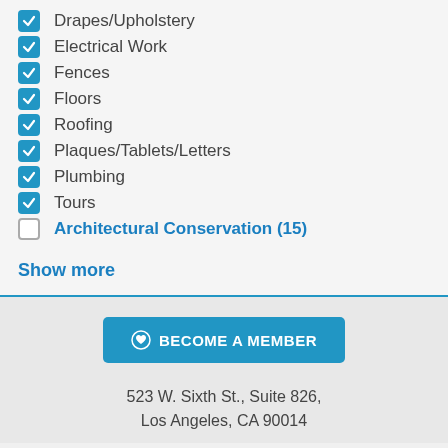Drapes/Upholstery
Electrical Work
Fences
Floors
Roofing
Plaques/Tablets/Letters
Plumbing
Tours
Architectural Conservation (15)
Show more
BECOME A MEMBER
523 W. Sixth St., Suite 826, Los Angeles, CA 90014